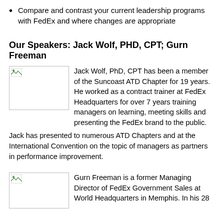Compare and contrast your current leadership programs with FedEx and where changes are appropriate
Our Speakers: Jack Wolf, PHD, CPT; Gurn Freeman
[Figure (photo): Placeholder image icon for Jack Wolf speaker photo]
Jack Wolf, PhD, CPT has been a member of the Suncoast ATD Chapter for 19 years. He worked as a contract trainer at FedEx Headquarters for over 7 years training managers on learning, meeting skills and presenting the FedEx brand to the public. Jack has presented to numerous ATD Chapters and at the International Convention on the topic of managers as partners in performance improvement.
[Figure (photo): Placeholder image icon for Gurn Freeman speaker photo]
Gurn Freeman is a former Managing Director of FedEx Government Sales at World Headquarters in Memphis. In his 28